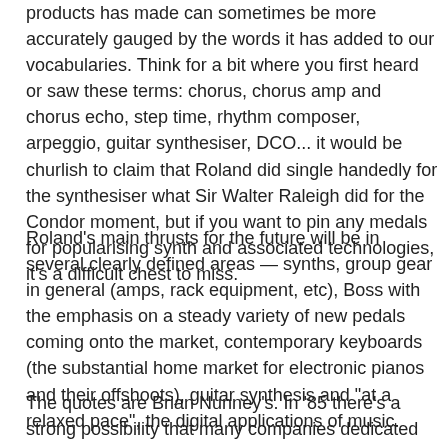products has made can sometimes be more accurately gauged by the words it has added to our vocabularies. Think for a bit where you first heard or saw these terms: chorus, chorus amp and chorus echo, step time, rhythm composer, arpeggio, guitar synthesiser, DCO... it would be churlish to claim that Roland did single handedly for the synthesiser what Sir Walter Raleigh did for the Condor moment, but if you want to pin any medals for popularising synth and associated technologies, it's a difficult chest to miss.
Roland's main thrusts for the future will be in several clearly defined areas — synths, group gear in general (amps, rack equipment, etc), Boss with the emphasis on a steady variety of new pedals coming onto the market, contemporary keyboards (the substantial home market for electronic pianos and their offshoots), guitar synthesis and "at a relaxed pace", the digital applications of music.
The quotes are Brian Nunney's. In '85 there's a strong possibility that many companies dedicated to the computer-music